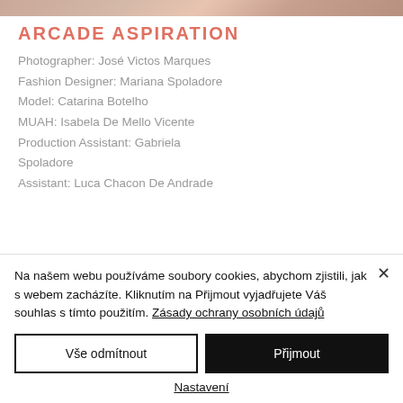[Figure (photo): Partial cropped photo of flowers/model at top of page]
ARCADE ASPIRATION
Photographer: José Victos Marques
Fashion Designer: Mariana Spoladore
Model: Catarina Botelho
MUAH: Isabela De Mello Vicente
Production Assistant: Gabriela Spoladore
Assistant: Luca Chacon De Andrade
Na našem webu používáme soubory cookies, abychom zjistili, jak s webem zacházíte. Kliknutím na Přijmout vyjadřujete Váš souhlas s tímto použitím. Zásady ochrany osobních údajů
Vše odmítnout
Přijmout
Nastavení